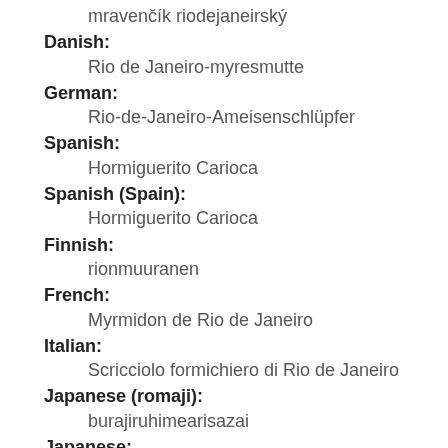mravenčík riodejaneirský
Danish:
    Rio de Janeiro-myresmutte
German:
    Rio-de-Janeiro-Ameisenschlüpfer
Spanish:
    Hormiguerito Carioca
Spanish (Spain):
    Hormiguerito Carioca
Finnish:
    rionmuuranen
French:
    Myrmidon de Rio de Janeiro
Italian:
    Scricciolo formichiero di Rio de Janeiro
Japanese (romaji):
    burajiruhimearisazai
Japanese:
    ブラジルヒメアリサザイ